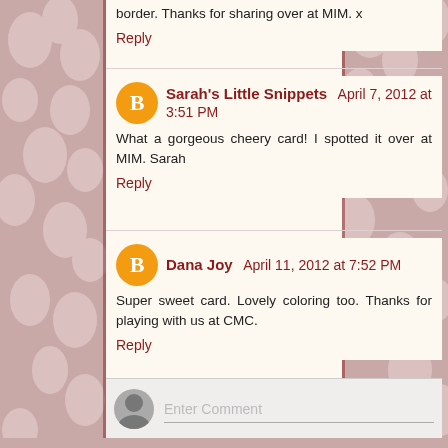border. Thanks for sharing over at MIM. x
Reply
Sarah's Little Snippets April 7, 2012 at 3:51 PM
What a gorgeous cheery card! I spotted it over at MIM. Sarah
Reply
Dana Joy April 11, 2012 at 7:52 PM
Super sweet card. Lovely coloring too. Thanks for playing with us at CMC.
Reply
Enter Comment